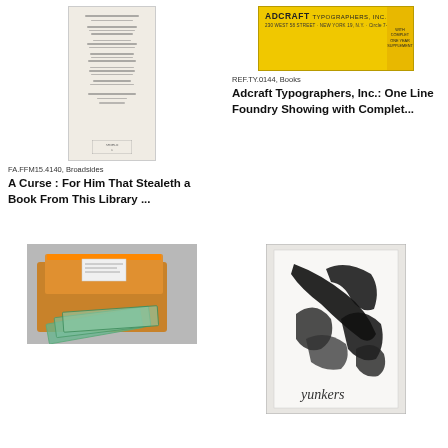[Figure (photo): A broadside printed on cream-colored paper with multiple stanzas of text and a small stamp/seal at the bottom]
FA.FFM15.4140, Broadsides
A Curse : For Him That Stealeth a Book From This Library ...
[Figure (photo): A yellow folder or envelope for Adcraft Typographers, Inc. showing company name and address on a bright yellow background with a sidebar panel]
REF.TY.0144, Books
Adcraft Typographers, Inc.: One Line Foundry Showing with Complet...
[Figure (photo): A wooden box (orange/brown wood) with glass plates or slides stacked beside it on a gray background]
[Figure (photo): A white/gray book cover with bold abstract black brushstroke illustration and 'Yunkers' text signature at the bottom]